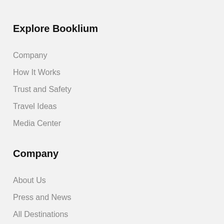Explore Booklium
Company
How It Works
Trust and Safety
Travel Ideas
Media Center
Company
About Us
Press and News
All Destinations
Help & Support